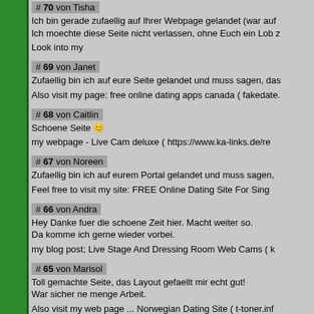# 70 von Tisha
Ich bin gerade zufaellig auf Ihrer Webpage gelandet (war auf
Ich moechte diese Seite nicht verlassen, ohne Euch ein Lob z

Look into my
# 69 von Janet
Zufaellig bin ich auf eure Seite gelandet und muss sagen, das

Also visit my page: free online dating apps canada ( fakedate.
# 68 von Caitlin
Schoene Seite 🙂

my webpage - Live Cam deluxe ( https://www.ka-links.de/re
# 67 von Noreen
Zufaellig bin ich auf eurem Portal gelandet und muss sagen,

Feel free to visit my site: FREE Online Dating Site For Sing
# 66 von Andra
Hey Danke fuer die schoene Zeit hier. Macht weiter so.
Da komme ich gerne wieder vorbei.

my blog post; Live Stage And Dressing Room Web Cams ( k
# 65 von Marisol
Toll gemachte Seite, das Layout gefaellt mir echt gut!
War sicher ne menge Arbeit.

Also visit my web page ... Norwegian Dating Site ( t-toner.inf
# 64 von Melanie
Nette Seite. Vielen Dank.